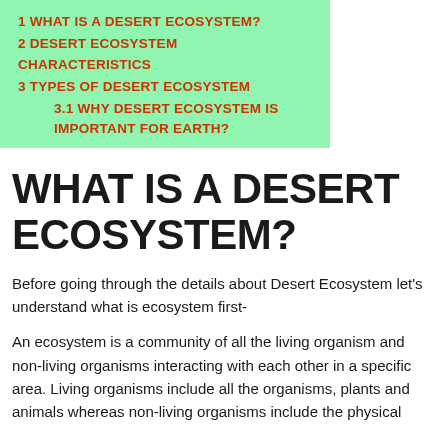1 WHAT IS A DESERT ECOSYSTEM?
2 DESERT ECOSYSTEM CHARACTERISTICS
3 TYPES OF DESERT ECOSYSTEM
3.1 WHY DESERT ECOSYSTEM IS IMPORTANT FOR EARTH?
WHAT IS A DESERT ECOSYSTEM?
Before going through the details about Desert Ecosystem let's understand what is ecosystem first-
An ecosystem is a community of all the living organism and non-living organisms interacting with each other in a specific area. Living organisms include all the organisms, plants and animals whereas non-living organisms include the physical